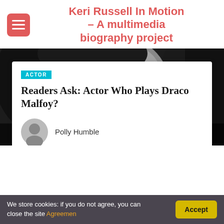Keri Russell In Motion – A multimedia biography project
[Figure (photo): Black and white close-up photo of a woman's face, used as hero/background image]
ACTOR
Readers Ask: Actor Who Plays Draco Malfoy?
Polly Humble
We store cookies: if you do not agree, you can close the site Agreemen